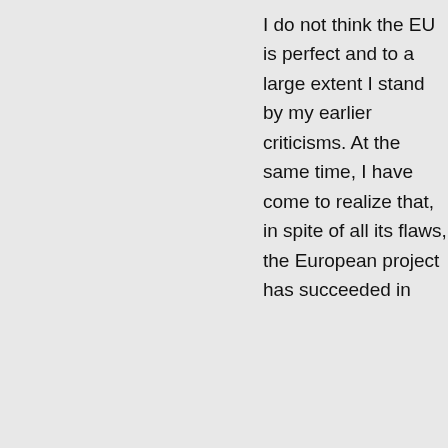I do not think the EU is perfect and to a large extent I stand by my earlier criticisms. At the same time, I have come to realize that, in spite of all its flaws, the European project has succeeded in